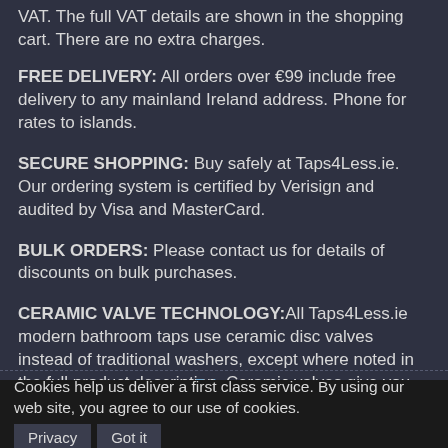VAT. The full VAT details are shown in the shopping cart. There are no extra charges.
FREE DELIVERY: All orders over €99 include free delivery to any mainland Ireland address. Phone for rates to islands.
SECURE SHOPPING: Buy safely at Taps4Less.ie. Our ordering system is certified by Verisign and audited by Visa and MasterCard.
BULK ORDERS: Please contact us for details of discounts on bulk purchases.
CERAMIC VALVE TECHNOLOGY:All Taps4Less.ie modern bathroom taps use ceramic disc valves instead of traditional washers, except where noted in the full product description. Ceramic valves give you extra smooth operation and longer life.
Privacy
Cookies help us deliver a first class service. By using our web site, you agree to our use of cookies.